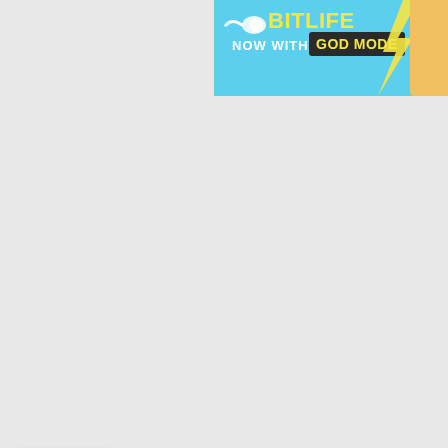[Figure (screenshot): BitLife advertisement banner with cyan background showing BitLife logo, sperm icon, yellow 'BITLIFE' text, 'NOW WITH GOD MODE' text in dark box with yellow letters, lightning bolt graphic, and orange hand graphic on right edge]
[Figure (screenshot): Web browser UI element showing a tab/panel with an upward chevron arrow button, and a large white/light gray empty content panel below it]